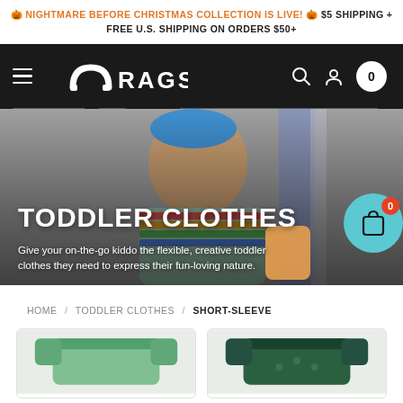🎃 NIGHTMARE BEFORE CHRISTMAS COLLECTION IS LIVE! 🎃 $5 SHIPPING + FREE U.S. SHIPPING ON ORDERS $50+
[Figure (logo): RAGS brand logo with hamburger menu on dark navbar, search icon, account icon, and cart showing 0]
[Figure (photo): Hero banner showing a laughing toddler boy wearing a colorful striped shirt and blue cap, with text 'TODDLER CLOTHES' and subtitle overlay]
TODDLER CLOTHES
Give your on-the-go kiddo the flexible, creative toddler clothes they need to express their fun-loving nature.
HOME / TODDLER CLOTHES / SHORT-SLEEVE
[Figure (photo): Two product card thumbnails showing toddler short-sleeve shirts at bottom of page]